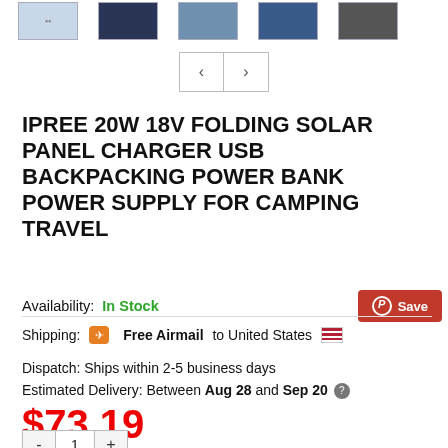[Figure (photo): Thumbnail strip showing 5 solar panel product images in various folded/unfolded configurations]
IPREE 20W 18V FOLDING SOLAR PANEL CHARGER USB BACKPACKING POWER BANK POWER SUPPLY FOR CAMPING TRAVEL
Availability: In Stock
Shipping: Free Airmail to United States
Dispatch: Ships within 2-5 business days
Estimated Delivery: Between Aug 28 and Sep 20
$73.19
- 1 +